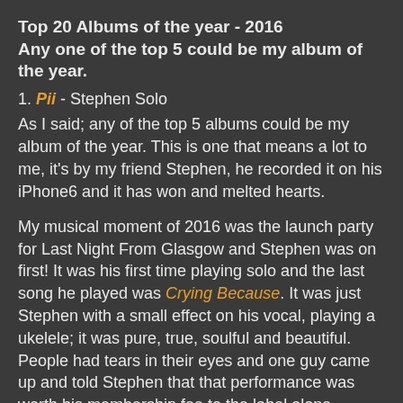Top 20 Albums of the year - 2016
Any one of the top 5 could be my album of the year.
1. Pii - Stephen Solo
As I said; any of the top 5 albums could be my album of the year. This is one that means a lot to me, it's by my friend Stephen, he recorded it on his iPhone6 and it has won and melted hearts.
My musical moment of 2016 was the launch party for Last Night From Glasgow and Stephen was on first! It was his first time playing solo and the last song he played was Crying Because. It was just Stephen with a small effect on his vocal, playing a ukelele; it was pure, true, soulful and beautiful. People had tears in their eyes and one guy came up and told Stephen that that performance was worth his membership fee to the label alone.
In my blog HERE I described it as; eclectic, eccentric, psychedelic, gentle, dreamy, beautiful and funny. I hear elements of The Beatles, Talking Heads, Damon Albarn,